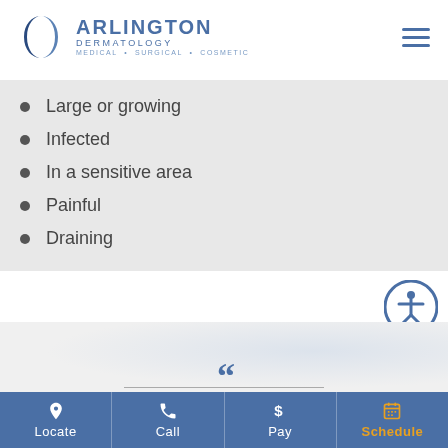Arlington Dermatology — Medical • Surgical • Cosmetic
Large or growing
Infected
In a sensitive area
Painful
Draining
[Figure (other): Decorative quote section with opening quotation marks and horizontal rule on a light gray/white textured background]
Locate | Call | Pay | Schedule